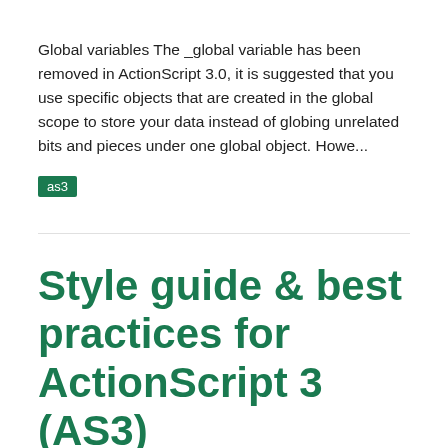Global variables The _global variable has been removed in ActionScript 3.0, it is suggested that you use specific objects that are created in the global scope to store your data instead of globing unrelated bits and pieces under one global object. Howe...
as3
Style guide & best practices for ActionScript 3 (AS3)
Published by Nicholas Dunbar on January 24th, 2011
Adobe Flash Best Practices and ActionScript 3 Style Guide. “Code that only you can understand does not make you an advanced coder.” - Some Smart Guy Goals When